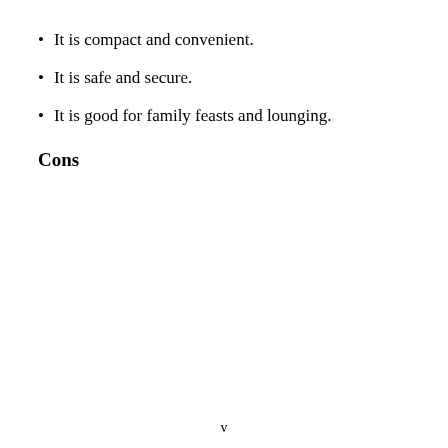It is compact and convenient.
It is safe and secure.
It is good for family feasts and lounging.
Cons
v